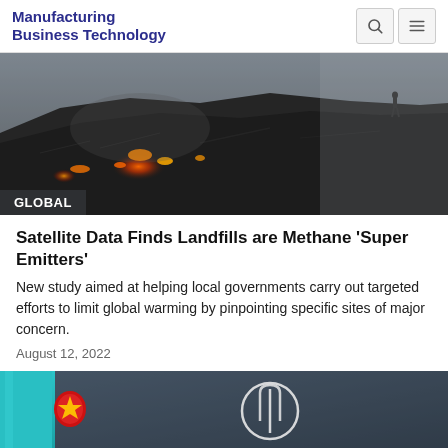Manufacturing Business Technology
[Figure (photo): Aerial view of a large landfill or volcanic landscape with glowing embers and a person silhouetted at the top ridge against a hazy sky]
GLOBAL
Satellite Data Finds Landfills are Methane 'Super Emitters'
New study aimed at helping local governments carry out targeted efforts to limit global warming by pinpointing specific sites of major concern.
August 12, 2022
[Figure (photo): Close-up of medals and ribbons on dark blue fabric with a white emblem visible]